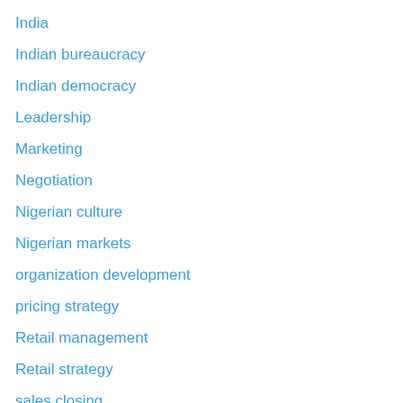India
Indian bureaucracy
Indian democracy
Leadership
Marketing
Negotiation
Nigerian culture
Nigerian markets
organization development
pricing strategy
Retail management
Retail strategy
sales closing
sales management
Sales playbook
SMB Business
Solutions marketing & Solutions sales
start-ups
Strategy
Successfully closing B2B clients